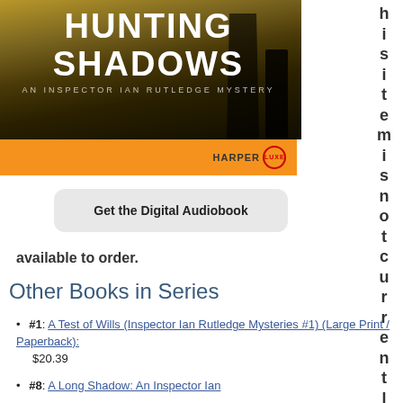[Figure (illustration): Book cover for 'Hunting Shadows: An Inspector Ian Rutledge Mystery' published by HarperLuxe. Cover shows dark moody image with golden/amber tones, large white bold text reading HUNTING SHADOWS, subtitle AN INSPECTOR IAN RUTLEDGE MYSTERY, orange bar at bottom with HARPERLUXE logo.]
hi s it e m is no t cu rr en tly
Get the Digital Audiobook
available to order.
Other Books in Series
#1: A Test of Wills (Inspector Ian Rutledge Mysteries #1) (Large Print / Paperback): $20.39
#8: A Long Shadow: An Inspector Ian